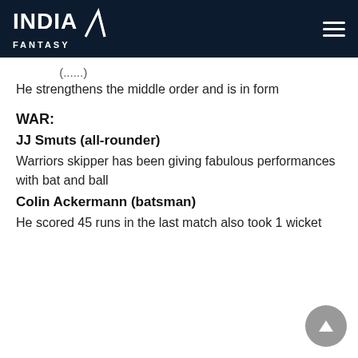INDIA FANTASY
He strengthens the middle order and is in form
WAR:
JJ Smuts (all-rounder)
Warriors skipper has been giving fabulous performances with bat and ball
Colin Ackermann (batsman)
He scored 45 runs in the last match also took 1 wicket